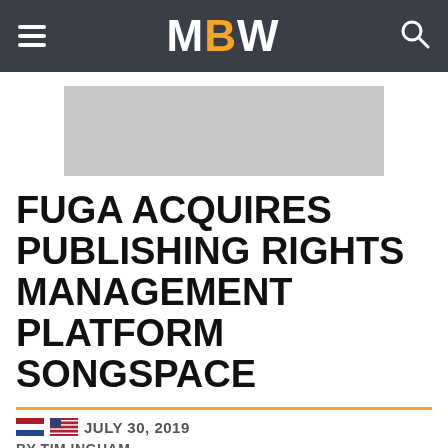MBW
[Figure (other): Gray advertisement placeholder banner]
FUGA ACQUIRES PUBLISHING RIGHTS MANAGEMENT PLATFORM SONGSPACE
JULY 30, 2019
BY TIM INGHAM
[Figure (photo): Article featured image placeholder, light gray background]